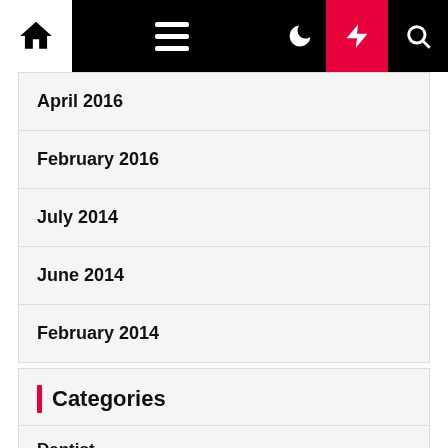Navigation bar with home, menu, moon, lightning, and search icons
April 2016
February 2016
July 2014
June 2014
February 2014
Categories
Dentist
Fitness